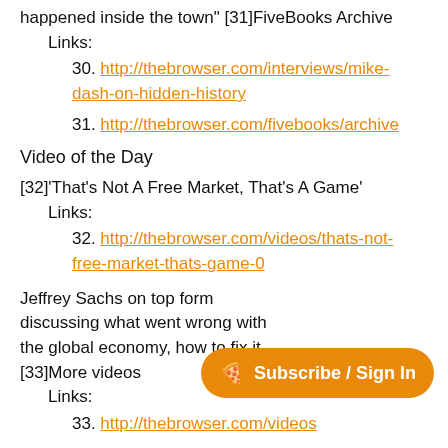happened inside the town" [31]FiveBooks Archive
Links:
30. http://thebrowser.com/interviews/mike-dash-on-hidden-history
31. http://thebrowser.com/fivebooks/archive
Video of the Day
[32]'That's Not A Free Market, That's A Game'
Links:
32. http://thebrowser.com/videos/thats-not-free-market-thats-game-0
Jeffrey Sachs on top form discussing what went wrong with the global economy, how to fix it [33]More videos
Links:
33. http://thebrowser.com/videos